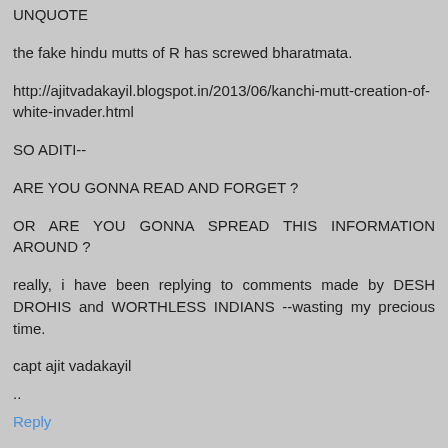UNQUOTE
the fake hindu mutts of R has screwed bharatmata.
http://ajitvadakayil.blogspot.in/2013/06/kanchi-mutt-creation-of-white-invader.html
SO ADITI--
ARE YOU GONNA READ AND FORGET ?
OR ARE YOU GONNA SPREAD THIS INFORMATION AROUND ?
really, i have been replying to comments made by DESH DROHIS and WORTHLESS INDIANS --wasting my precious time.
capt ajit vadakayil
..
Reply